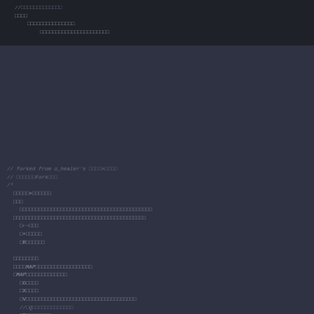Code snippet showing forked shader code with comments and variable declarations in a dark-themed code editor view
Bottom section with MAP-related code structure